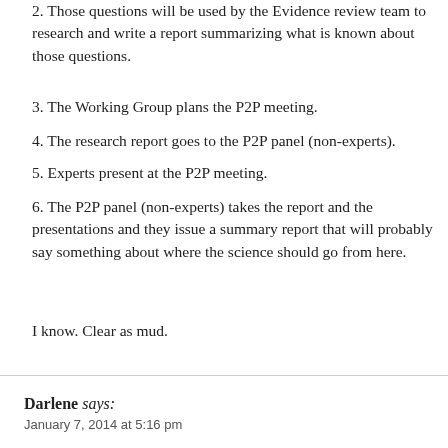2. Those questions will be used by the Evidence review team to research and write a report summarizing what is known about those questions.
3. The Working Group plans the P2P meeting.
4. The research report goes to the P2P panel (non-experts).
5. Experts present at the P2P meeting.
6. The P2P panel (non-experts) takes the report and the presentations and they issue a summary report that will probably say something about where the science should go from here.
I know. Clear as mud.
Darlene says:
January 7, 2014 at 5:16 pm
@Jennie Spotila
Thanks Jennie, that was very helpful. I look forward to